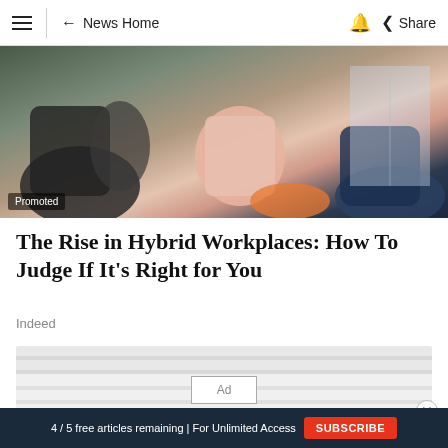≡  ← News Home  🔔  Share
[Figure (photo): Two people sitting in chairs in a workplace or office setting; one wearing pink pants, the other in dark clothing. 'Promoted' badge overlaid at bottom-left.]
The Rise in Hybrid Workplaces: How To Judge If It's Right for You
Indeed
Ad
4 / 5 free articles remaining | For Unlimited Access  SUBSCRIBE